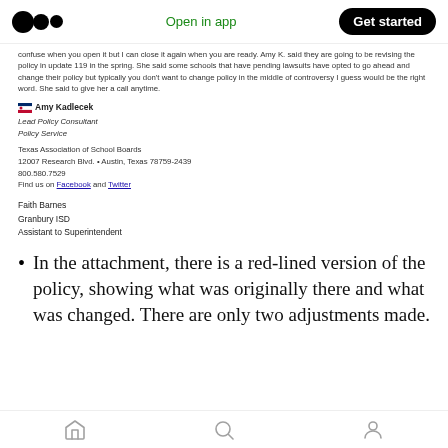Open in app | Get started
confuse when you open it but I can close it again when you are ready. Amy K. said they are going to be revising the policy in update 119 in the spring. She said some schools that have pending lawsuits have opted to go ahead and change their policy but typically you don't want to change policy in the middle of controversy I guess would be the right word. She said to give her a call anytime.
Amy Kadlecek
Lead Policy Consultant
Policy Service

Texas Association of School Boards
12007 Research Blvd. • Austin, Texas 78759-2439
800.580.7529
Find us on Facebook and Twitter
Faith Barnes
Granbury ISD
Assistant to Superintendent
In the attachment, there is a red-lined version of the policy, showing what was originally there and what was changed. There are only two adjustments made.
Home | Search | Profile